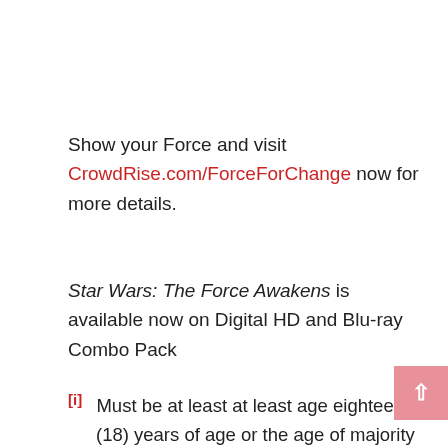Show your Force and visit CrowdRise.com/ForceForChange now for more details.
Star Wars: The Force Awakens is available now on Digital HD and Blu-ray Combo Pack
[i] Must be at least at least age eighteen (18) years of age or the age of majority in your jurisdiction, whichever is greater, at the time of entry and an individual legal resident of the 50 United States or the District of Columbia. Starts on April 5, 2016 at 4:00am PST and ends as soon as there are twenty (20) individuals that have donated and/or fundraised at least $500 online on the